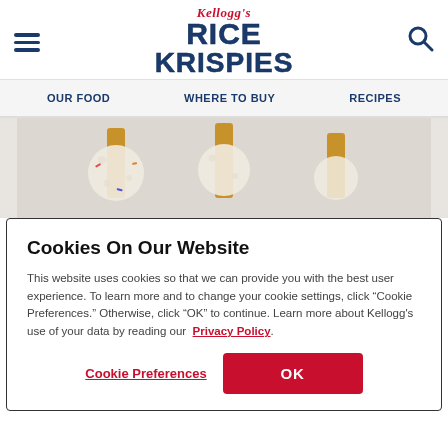[Figure (logo): Kellogg's Rice Krispies logo with hamburger menu and search icon in the header]
OUR FOOD   WHERE TO BUY   RECIPES
[Figure (photo): Rice Krispies treats on popsicle sticks against a light gray background]
Cookies On Our Website
This website uses cookies so that we can provide you with the best user experience. To learn more and to change your cookie settings, click “Cookie Preferences.” Otherwise, click “OK” to continue. Learn more about Kellogg's use of your data by reading our  Privacy Policy.
Cookie Preferences   OK